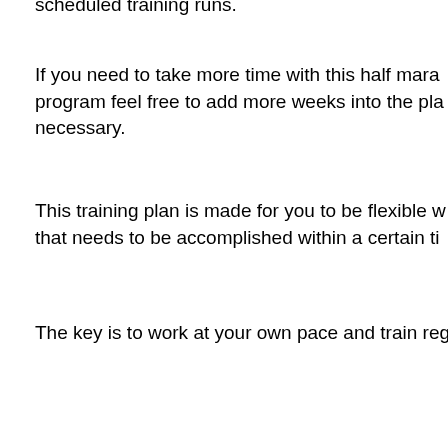scheduled training runs.
If you need to take more time with this half mara program feel free to add more weeks into the pla necessary.
This training plan is made for you to be flexible w that needs to be accomplished within a certain ti
The key is to work at your own pace and train reg